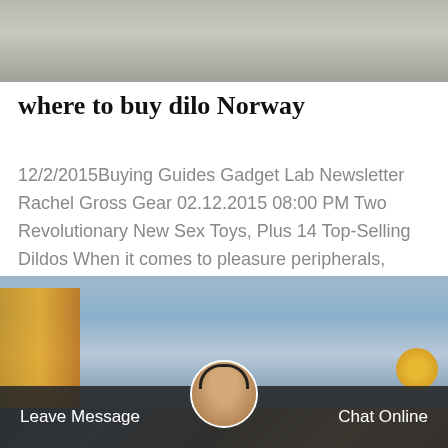[Figure (photo): Top portion of an industrial/outdoor scene, partially cropped at the top]
where to buy dilo Norway
12/2/2015Buying Guides Gadget Lab Newsletter Rachel Gross Gear 02.12.2015 08:00 PM Two Revolutionary New Sex Toys, Plus 14 Top-Selling Dildos When it comes to pleasure peripherals, dildos aren't for
[Figure (other): Orange 'Get Price' button]
[Figure (photo): Industrial electrical substation with power towers and yellow structures. Bottom bar shows Leave Message and Chat Online with a customer service avatar.]
Leave Message
Chat Online